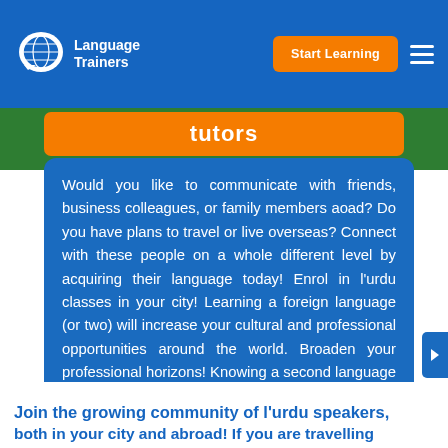[Figure (logo): Language Trainers logo with globe speech bubble icon and white text on blue navbar background]
Tutors
Would you like to communicate with friends, business colleagues, or family members aoad? Do you have plans to travel or live overseas? Connect with these people on a whole different level by acquiring their language today! Enrol in l'urdu classes in your city! Learning a foreign language (or two) will increase your cultural and professional opportunities around the world. Broaden your professional horizons! Knowing a second language boosts your chances of landing jobs amongst a group of other monolingual candidates with similar abilities. Why not start learning l'urdu today?
Join the growing community of l'urdu speakers, both in your city and abroad! If you are travelling